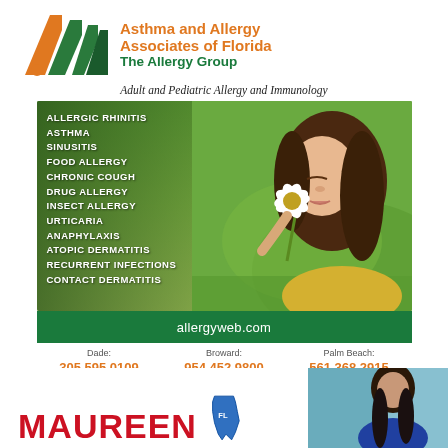[Figure (logo): Asthma and Allergy Associates of Florida – The Allergy Group logo with orange and green 'A' shapes]
Asthma and Allergy Associates of Florida The Allergy Group
Adult and Pediatric Allergy and Immunology
[Figure (photo): Young girl with long dark hair smelling a white daisy flower outdoors in green field, with list of medical conditions overlaid on the left]
ALLERGIC RHINITIS
ASTHMA
SINUSITIS
FOOD ALLERGY
CHRONIC COUGH
DRUG ALLERGY
INSECT ALLERGY
URTICARIA
ANAPHYLAXIS
ATOPIC DERMATITIS
RECURRENT INFECTIONS
CONTACT DERMATITIS
allergyweb.com
Dade: 305.595.0109   Broward: 954.452.9800   Palm Beach: 561.368.2915
[Figure (photo): Partial view of woman (Maureen) with Florida state map graphic and red MAUREEN text]
MAUREEN